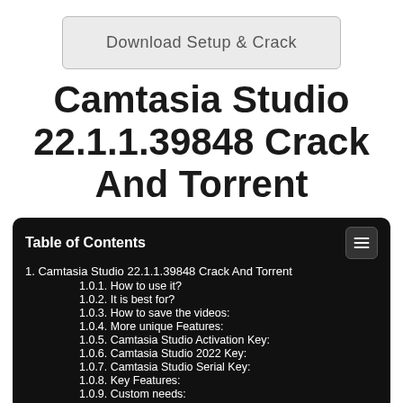[Figure (other): Download Setup & Crack button — a rounded rectangle button with gray background and border]
Camtasia Studio 22.1.1.39848 Crack And Torrent
Table of Contents
1. Camtasia Studio 22.1.1.39848 Crack And Torrent
1.0.1. How to use it?
1.0.2. It is best for?
1.0.3. How to save the videos:
1.0.4. More unique Features:
1.0.5. Camtasia Studio Activation Key:
1.0.6. Camtasia Studio 2022 Key:
1.0.7. Camtasia Studio Serial Key:
1.0.8. Key Features:
1.0.9. Custom needs: